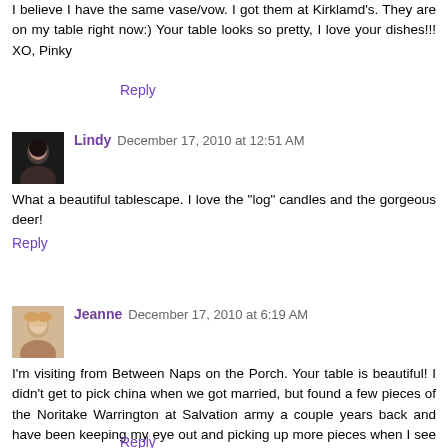I believe I have the same vase/vow. I got them at Kirklamd's. They are on my table right now:) Your table looks so pretty, I love your dishes!!! XO, Pinky
Reply
Lindy  December 17, 2010 at 12:51 AM
What a beautiful tablescape. I love the "log" candles and the gorgeous deer!
Reply
Jeanne  December 17, 2010 at 6:19 AM
I'm visiting from Between Naps on the Porch. Your table is beautiful! I didn't get to pick china when we got married, but found a few pieces of the Noritake Warrington at Salvation army a couple years back and have been keeping my eye out and picking up more pieces when I see them. Its a beautiful pattern that mixes well with several others. You set a beautiful holiday table with it!
Reply